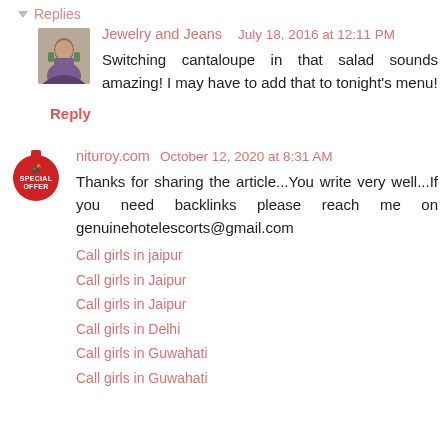▼ Replies
Jewelry and Jeans   July 18, 2016 at 12:11 PM
Switching cantaloupe in that salad sounds amazing! I may have to add that to tonight's menu!
Reply
nituroy.com   October 12, 2020 at 8:31 AM
Thanks for sharing the article...You write very well...If you need backlinks please reach me on genuinehotelescorts@gmail.com
Call girls in jaipur
Call girls in Jaipur
Call girls in Jaipur
Call girls in Delhi
Call girls in Guwahati
Call girls in Guwahati